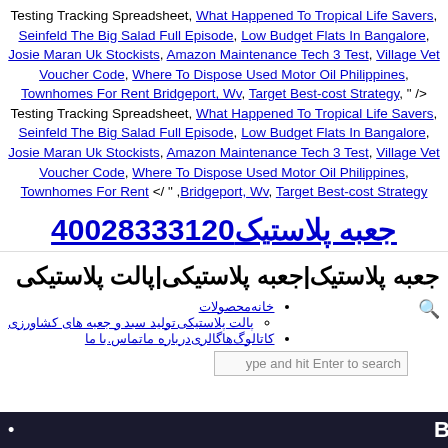Testing Tracking Spreadsheet, What Happened To Tropical Life Savers, Seinfeld The Big Salad Full Episode, Low Budget Flats In Bangalore, Josie Maran Uk Stockists, Amazon Maintenance Tech 3 Test, Village Vet Voucher Code, Where To Dispose Used Motor Oil Philippines, Townhomes For Rent Bridgeport, Wv, Target Best-cost Strategy, " /> Testing Tracking Spreadsheet, What Happened To Tropical Life Savers, Seinfeld The Big Salad Full Episode, Low Budget Flats In Bangalore, Josie Maran Uk Stockists, Amazon Maintenance Tech 3 Test, Village Vet Voucher Code, Where To Dispose Used Motor Oil Philippines, Townhomes For Rent </ " ,Bridgeport, Wv, Target Best-cost Strategy
جعبه پلاستیک02133382004
جعبه پلاستیک|جعبه پلاستیکی|پالت پلاستیکی
خانه محصولات
پالت پلاستیکی تولید سبد و جعبه های کشاورزی
کاتالوگ ها  گالری  درباره ما  تماس با ما